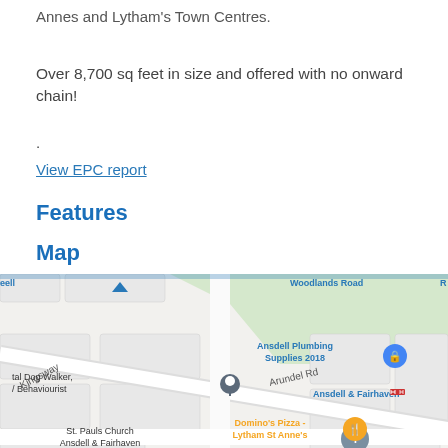Annes and Lytham's Town Centres.
Over 8,700 sq feet in size and offered with no onward chain!
.
View EPC report
Features
Map
[Figure (map): Google Maps view showing Ansdell & Fairhaven area with landmarks: Ansdell Plumbing Supplies 2018, Ansdell & Fairhaven train station, Domino's Pizza - Lytham St Anne's, St. Pauls Church Ansdell & Fairhaven, a dog walker/behaviourist business, Arundel Rd, Kingsway, Woodlands Road labels.]